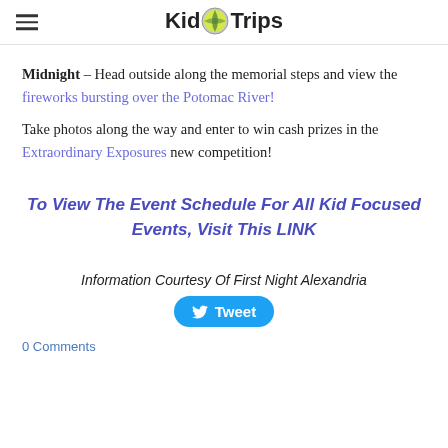KidTrips
Midnight – Head outside along the memorial steps and view the fireworks bursting over the Potomac River!
Take photos along the way and enter to win cash prizes in the Extraordinary Exposures new competition!
To View The Event Schedule For All Kid Focused Events, Visit This LINK
Information Courtesy Of First Night Alexandria
Tweet
0 Comments